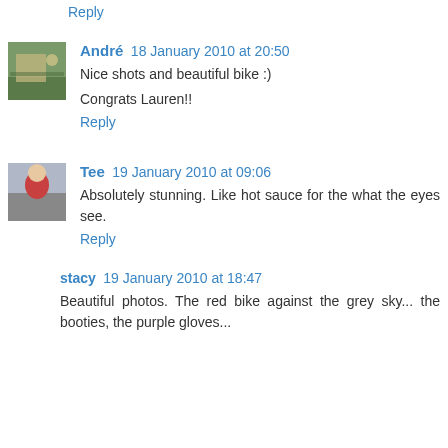Reply
André  18 January 2010 at 20:50
Nice shots and beautiful bike :)
Congrats Lauren!!
Reply
Tee  19 January 2010 at 09:06
Absolutely stunning. Like hot sauce for the what the eyes see.
Reply
stacy  19 January 2010 at 18:47
Beautiful photos. The red bike against the grey sky... the booties, the purple gloves...